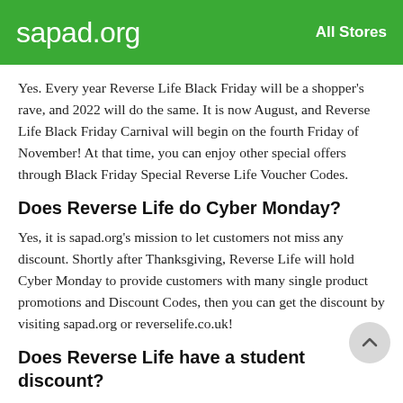sapad.org   All Stores
Yes. Every year Reverse Life Black Friday will be a shopper's rave, and 2022 will do the same. It is now August, and Reverse Life Black Friday Carnival will begin on the fourth Friday of November! At that time, you can enjoy other special offers through Black Friday Special Reverse Life Voucher Codes.
Does Reverse Life do Cyber Monday?
Yes, it is sapad.org's mission to let customers not miss any discount. Shortly after Thanksgiving, Reverse Life will hold Cyber Monday to provide customers with many single product promotions and Discount Codes, then you can get the discount by visiting sapad.org or reverselife.co.uk!
Does Reverse Life have a student discount?